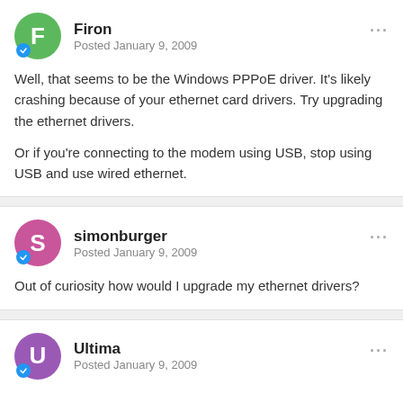Firon
Posted January 9, 2009
Well, that seems to be the Windows PPPoE driver. It's likely crashing because of your ethernet card drivers. Try upgrading the ethernet drivers.

Or if you're connecting to the modem using USB, stop using USB and use wired ethernet.
simonburger
Posted January 9, 2009
Out of curiosity how would I upgrade my ethernet drivers?
Ultima
Posted January 9, 2009